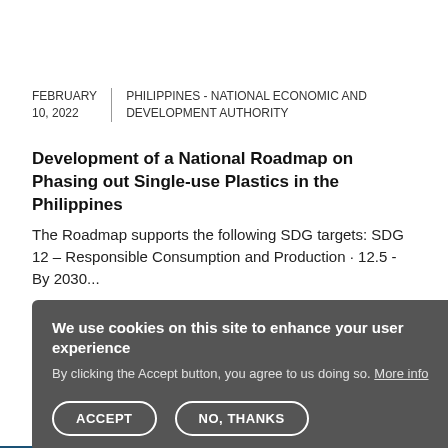FEBRUARY 10, 2022 | PHILIPPINES - NATIONAL ECONOMIC AND DEVELOPMENT AUTHORITY
Development of a National Roadmap on Phasing out Single-use Plastics in the Philippines
The Roadmap supports the following SDG targets: SDG 12 – Responsible Consumption and Production · 12.5 - By 2030...
ORGANISATION
Philippines - National Economic and Development Authority
TYPE
National Cross-Sector Roadmap Plan
[Figure (screenshot): Cookie consent overlay popup with dark grey background. Contains title 'We use cookies on this site to enhance your user experience', body text 'By clicking the Accept button, you agree to us doing so. More info', and two buttons: ACCEPT and NO, THANKS.]